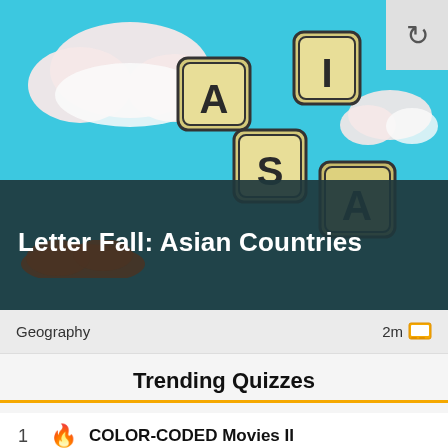[Figure (illustration): Letter Fall: Asian Countries game banner. Blue sky with clouds, falling letter tiles spelling ASIA on a teal/dark background. Reload icon in top-right corner.]
Letter Fall: Asian Countries
Geography   2m
Trending Quizzes
1  🔥  COLOR-CODED Movies II